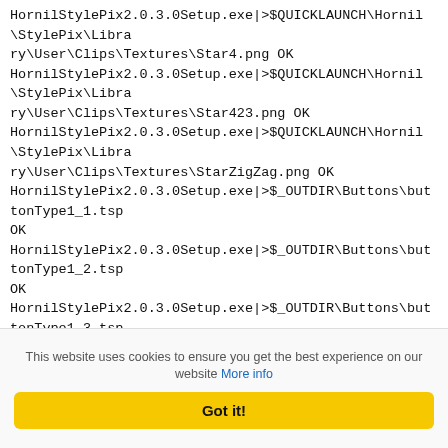HornilStylePix2.0.3.0Setup.exe|>$QUICKLAUNCH\Hornil\StylePix\Library\User\Clips\Textures\Star4.png OK
HornilStylePix2.0.3.0Setup.exe|>$QUICKLAUNCH\Hornil\StylePix\Library\User\Clips\Textures\Star423.png OK
HornilStylePix2.0.3.0Setup.exe|>$QUICKLAUNCH\Hornil\StylePix\Library\User\Clips\Textures\StarZigZag.png OK
HornilStylePix2.0.3.0Setup.exe|>$_OUTDIR\Buttons\buttonType1_1.tsp OK
HornilStylePix2.0.3.0Setup.exe|>$_OUTDIR\Buttons\buttonType1_2.tsp OK
HornilStylePix2.0.3.0Setup.exe|>$_OUTDIR\Buttons\buttonType1_3.tsp OK
HornilStylePix2.0.3.0Setup.exe|>$_OUTDIR\Buttons\buttonType1_4.tsp OK
HornilStylePix2.0.3.0Setup.exe|>$_OUTDIR\Buttons\buttonType1_5.tsp OK
HornilStylePix2.0.3.0Setup.exe|>$_OUTDIR\Buttons\buttonType1_6.tsp OK
HornilStylePix2.0.3.0Setup.exe|>$_OUTDIR\Buttons\buttonType1_7.tsp OK
HornilStylePix2.0.3.0Setup.exe|>$_OUTDIR\Buttons\buttonType2_1.tsp OK
This website uses cookies to ensure you get the best experience on our website More info
Got it!